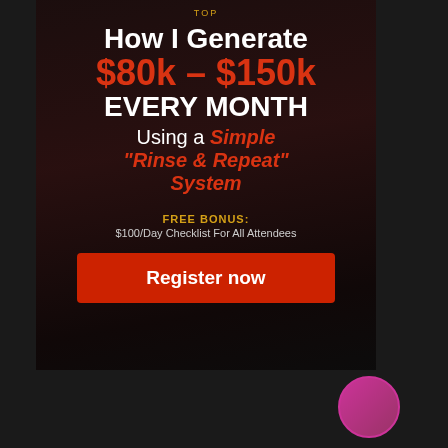[Figure (infographic): Dark-background promotional advertisement for a webinar/course. Contains headline text 'How I Generate $80k - $150k EVERY MONTH Using a Simple "Rinse & Repeat" System', free bonus offer '$100/Day Checklist For All Attendees', and a red Register now button.]
How I Generate $80k - $150k EVERY MONTH Using a Simple "Rinse & Repeat" System
FREE BONUS: $100/Day Checklist For All Attendees
Register now